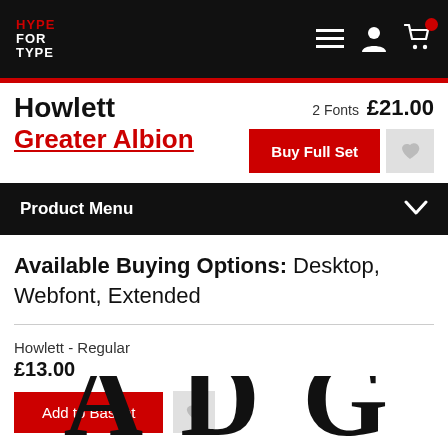HYPE FOR TYPE
Howlett Greater Albion
2 Fonts £21.00
Buy Full Set
Product Menu
Available Buying Options: Desktop, Webfont, Extended
Howlett - Regular
£13.00
Add to Basket
[Figure (illustration): Large decorative letters A, D, and partial G shown in bold serif font as a typeface preview]